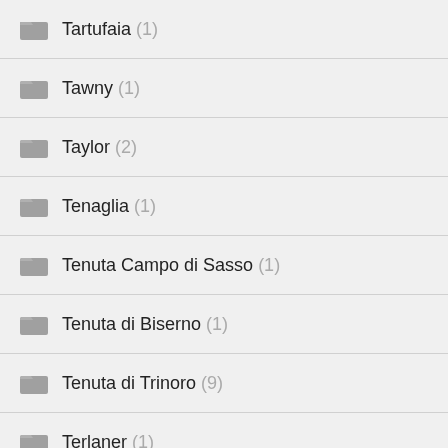Tartufaia (1)
Tawny (1)
Taylor (2)
Tenaglia (1)
Tenuta Campo di Sasso (1)
Tenuta di Biserno (1)
Tenuta di Trinoro (9)
Terlaner (1)
Terrantez (1)
Terriccio (1)